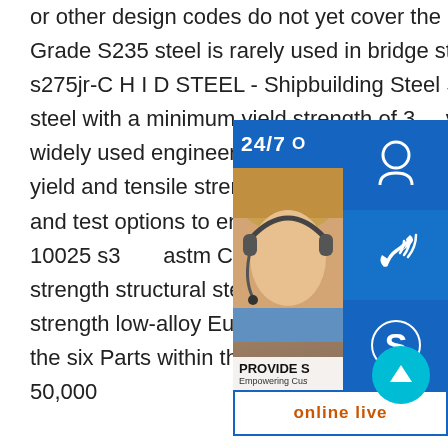or other design codes do not yet cover the use of these strengths. Grade S235 steel is rarely used in bridge steelwork.sp.info s235jr vs s275jr-C H I D STEEL - Shipbuilding Steel S335JR - an useful steel with a minimum yield strength of 3 vs s275jr#178;.S355 being widely used engineering and construction industries.S yield and tensile strength and is supplied treatments and test options to ensure the usable steel in your sp.info en 10025 s3 astm Carbon steel,mild steel EN 10025-2 S355JR high strength structural steel plate. S355JR structural plate is a high-strength low-alloy European standard structural steel covering four of the six Parts within the EN 10025 2004 standard.With minimum yield of 50,000
[Figure (infographic): Customer service panel with 24/7 label, photo of woman with headset, icons for support (headset), phone/call, and Skype, a PROVIDE / Empowering Customers label, and an online live button]